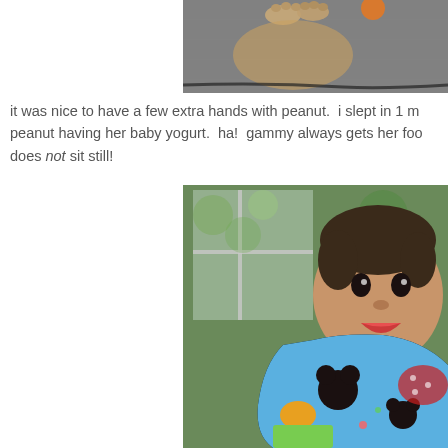[Figure (photo): Partial photo of a cat on what appears to be a gray couch or car seat, showing paws and fur, cropped at top]
it was nice to have a few extra hands with peanut.  i slept in 1 m... peanut having her baby yogurt.  ha!  gammy always gets her foo... does not sit still!
[Figure (photo): Baby/toddler wearing a blue Mickey Mouse bib and green shirt, mouth open, looking at camera, with window and greenery in background]